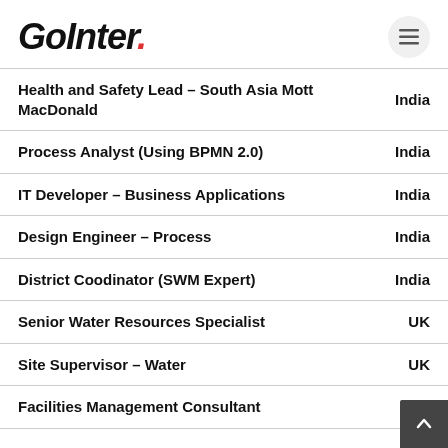GoInter.
Health and Safety Lead – South Asia Mott MacDonald | India
Process Analyst (Using BPMN 2.0) | India
IT Developer – Business Applications | India
Design Engineer – Process | India
District Coodinator (SWM Expert) | India
Senior Water Resources Specialist | UK
Site Supervisor – Water | UK
Facilities Management Consultant | UK